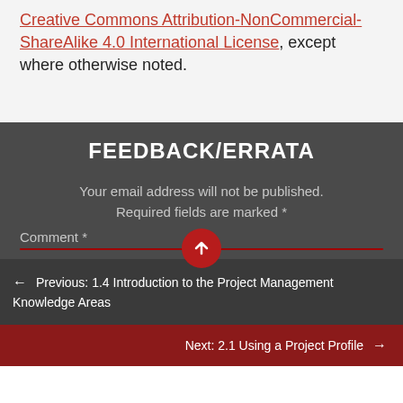Creative Commons Attribution-NonCommercial-ShareAlike 4.0 International License, except where otherwise noted.
FEEDBACK/ERRATA
Your email address will not be published. Required fields are marked *
Comment *
← Previous: 1.4 Introduction to the Project Management Knowledge Areas
Next: 2.1 Using a Project Profile →